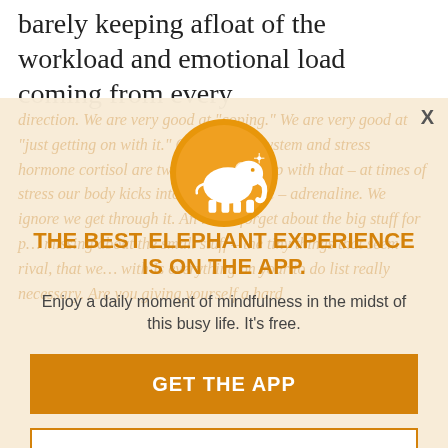barely keeping afloat of the workload and emotional load coming from every
[Figure (other): Modal popup overlay for Elephant app with orange elephant logo circle, faded italic background text, close X button, headline, subtext, and two CTA buttons]
THE BEST ELEPHANT EXPERIENCE IS ON THE APP.
Enjoy a daily moment of mindfulness in the midst of this busy life. It's free.
GET THE APP
OPEN IN APP